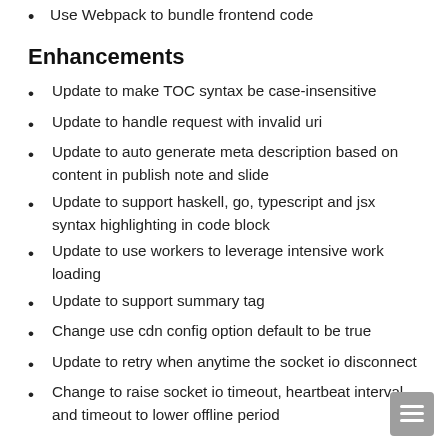Use Webpack to bundle frontend code
Enhancements
Update to make TOC syntax be case-insensitive
Update to handle request with invalid uri
Update to auto generate meta description based on content in publish note and slide
Update to support haskell, go, typescript and jsx syntax highlighting in code block
Update to use workers to leverage intensive work loading
Update to support summary tag
Change use cdn config option default to be true
Update to retry when anytime the socket io disconnect
Change to raise socket io timeout, heartbeat interval and timeout to lower offline period